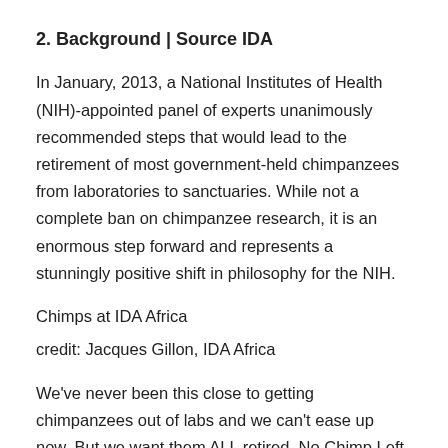2. Background | Source IDA
In January, 2013, a National Institutes of Health (NIH)-appointed panel of experts unanimously recommended steps that would lead to the retirement of most government-held chimpanzees from laboratories to sanctuaries. While not a complete ban on chimpanzee research, it is an enormous step forward and represents a stunningly positive shift in philosophy for the NIH.
Chimps at IDA Africa
credit: Jacques Gillon, IDA Africa
We've never been this close to getting chimpanzees out of labs and we can't ease up now. But we want them ALL retired. No Chimp Left Behind!